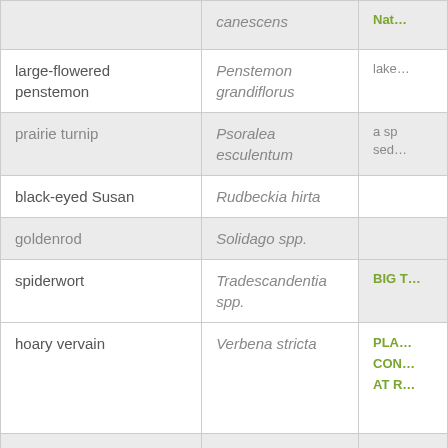| Common Name | Scientific Name | (truncated) |
| --- | --- | --- |
|  | canescens | Nat… |
| large-flowered penstemon | Penstemon grandiflorus | lake… |
| prairie turnip | Psoralea esculentum | a sp sed… |
| black-eyed Susan | Rudbeckia hirta |  |
| goldenrod | Solidago spp. |  |
| spiderwort | Tradescandentia spp. | BIG T… |
| hoary vervain | Verbena stricta | PLA… CON… AT R… |
|  |  | Flow… Gra… |
| Grasses |  |  |